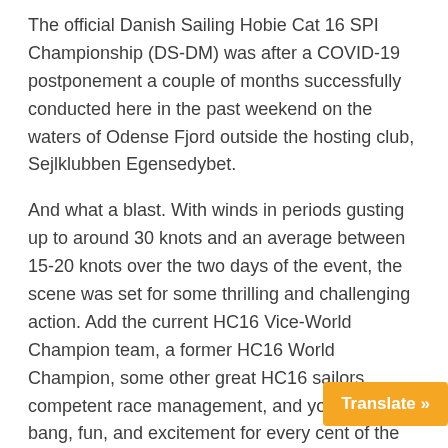The official Danish Sailing Hobie Cat 16 SPI Championship (DS-DM) was after a COVID-19 postponement a couple of months successfully conducted here in the past weekend on the waters of Odense Fjord outside the hosting club, Sejlklubben Egensedybet.
And what a blast. With winds in periods gusting up to around 30 knots and an average between 15-20 knots over the two days of the event, the scene was set for some thrilling and challenging action. Add the current HC16 Vice-World Champion team, a former HC16 World Champion, some other great HC16 sailors, competent race management, and you have a bang, fun, and excitement for every cent of the entry fee.
Fourteen teams showed up to the event—a pretty good turn out for our part of the world and with the C restrictions in mind.